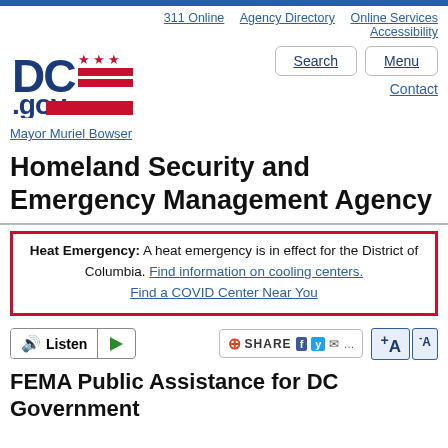311 Online | Agency Directory | Online Services | Accessibility
[Figure (logo): DC.gov logo with red stars and red flag stripes]
Search | Menu | Contact
Mayor Muriel Bowser
Homeland Security and Emergency Management Agency
Heat Emergency: A heat emergency is in effect for the District of Columbia. Find information on cooling centers. Find a COVID Center Near You
Listen | Share | Font size controls
FEMA Public Assistance for DC Government